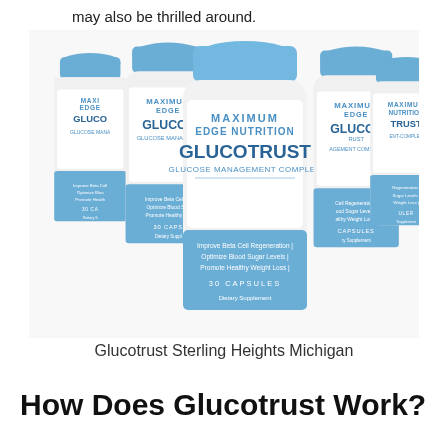may also be thrilled around.
[Figure (photo): Five bottles of GlucoTrust Glucose Management Complex supplement by Maximum Edge Nutrition, arranged in a group with the center bottle in front. Bottles are white with blue caps and blue label bands.]
Glucotrust Sterling Heights Michigan
How Does Glucotrust Work?